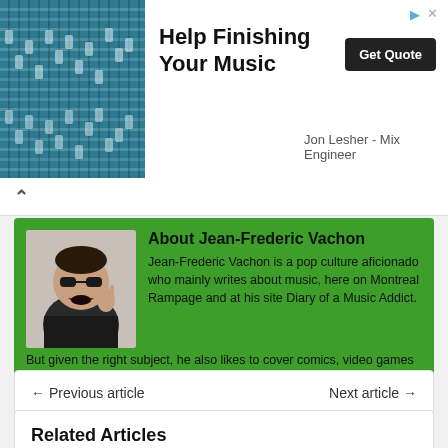[Figure (photo): Advertisement banner with a photo of music mixing board/console on left, bold text 'Help Finishing Your Music' with Get Quote button and 'Jon Lesher - Mix Engineer' subtitle on right]
Help Finishing Your Music
Jon Lesher - Mix Engineer
[Figure (photo): Photo of Jean-Frederic Vachon wearing sunglasses and making a rock-on hand gesture]
About Jean-Frederic Vachon
Jean-Frederic Vachon is a pop culture aficionado who mainly writes about music, here on Montreal Rampage and at his site Diary of a Music Addict. But given the right subject, he also likes to cover comics, video games and hockey. Contact: Website | Facebook | Twitter | More Posts
← Previous article
Next article →
Related Articles